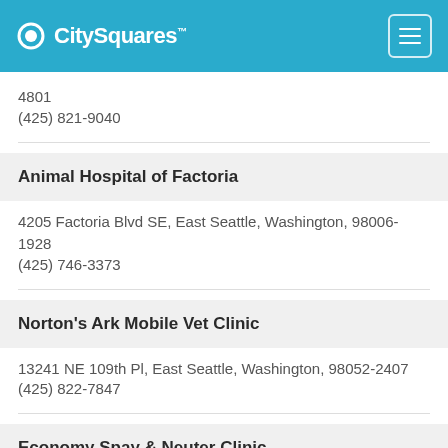CitySquares
4801
(425) 821-9040
Animal Hospital of Factoria
4205 Factoria Blvd SE, East Seattle, Washington, 98006-1928
(425) 746-3373
Norton's Ark Mobile Vet Clinic
13241 NE 109th Pl, East Seattle, Washington, 98052-2407
(425) 822-7847
Economy Spay & Neuter Clinic